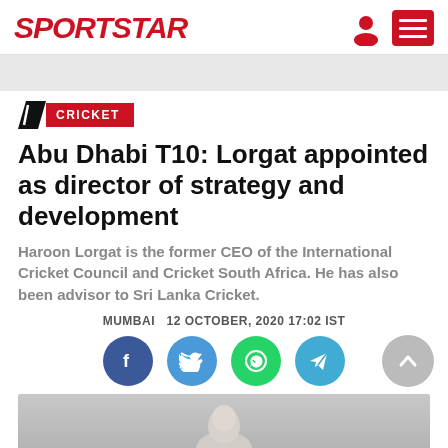SPORTSTAR
CRICKET
Abu Dhabi T10: Lorgat appointed as director of strategy and development
Haroon Lorgat is the former CEO of the International Cricket Council and Cricket South Africa. He has also been advisor to Sri Lanka Cricket.
MUMBAI   12 OCTOBER, 2020 17:02 IST
[Figure (infographic): Social sharing buttons: Facebook (blue), Twitter (blue), WhatsApp (green), Telegram (blue), and a scroll-to-top button (gray)]
[Figure (photo): Bottom partial image, likely a photo of Haroon Lorgat, cropped at bottom of page]